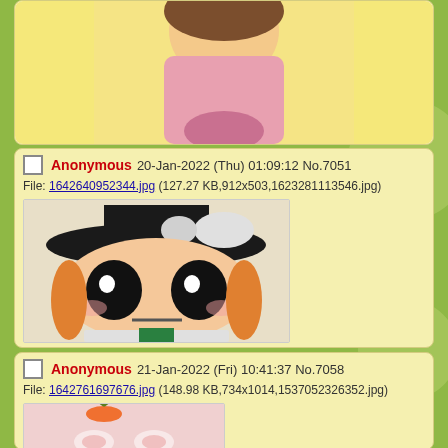[Figure (screenshot): Partial view of an anime chibi character on yellow background, top of post card cropped]
Anonymous 20-Jan-2022 (Thu) 01:09:12 No.7051
File: 1642640952344.jpg (127.27 KB,912x503,1623281113546.jpg)
[Figure (illustration): Anime manga-style chibi character with a black witch hat, large expressive eyes, orange pigtail hair, and white bow, on beige background]
Anonymous 21-Jan-2022 (Fri) 10:41:37 No.7058
File: 1642761697676.jpg (148.98 KB,734x1014,1537052326352.jpg)
[Figure (illustration): Anime illustration of a carrot hanging by a string above rabbit ears, on pink polka-dot background. Image partially visible at bottom of page.]